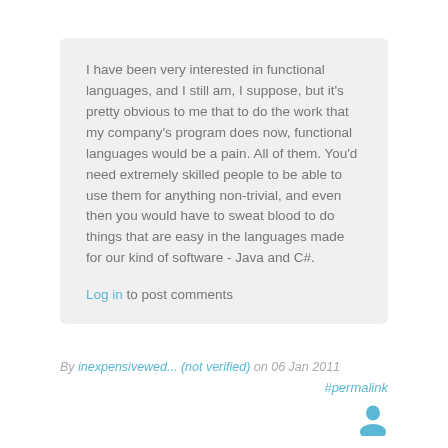I have been very interested in functional languages, and I still am, I suppose, but it's pretty obvious to me that to do the work that my company's program does now, functional languages would be a pain. All of them. You'd need extremely skilled people to be able to use them for anything non-trivial, and even then you would have to sweat blood to do things that are easy in the languages made for our kind of software - Java and C#.
Log in to post comments
By inexpensivewed... (not verified) on 06 Jan 2011
#permalink